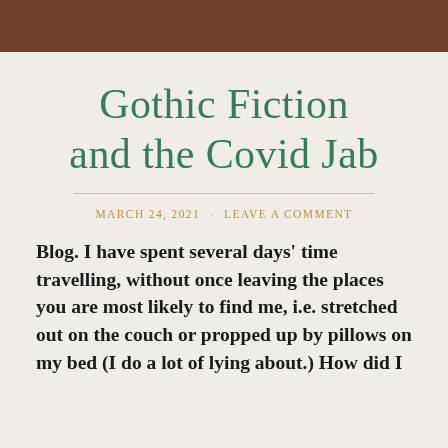Gothic Fiction and the Covid Jab
MARCH 24, 2021 · LEAVE A COMMENT
Blog. I have spent several days' time travelling, without once leaving the places you are most likely to find me, i.e. stretched out on the couch or propped up by pillows on my bed (I do a lot of lying about.)  How did I